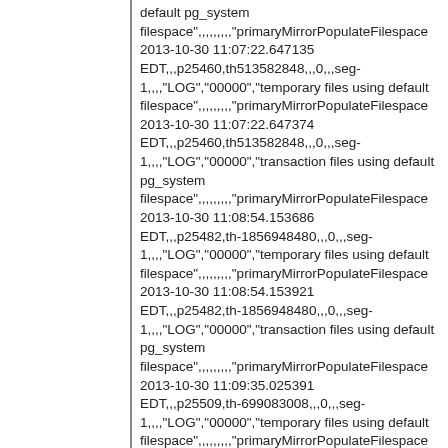default pg_system filespace",,,,,,,,"primaryMirrorPopulateFilespace 2013-10-30 11:07:22.647135 EDT,,,p25460,th513582848,,,0,,,seg-1,,,,"LOG","00000","temporary files using default filespace",,,,,,,,,"primaryMirrorPopulateFilespace 2013-10-30 11:07:22.647374 EDT,,,p25460,th513582848,,,0,,,seg-1,,,,"LOG","00000","transaction files using default pg_system filespace",,,,,,,,,"primaryMirrorPopulateFilespace 2013-10-30 11:08:54.153686 EDT,,,p25482,th-1856948480,,,0,,,seg-1,,,,"LOG","00000","temporary files using default filespace",,,,,,,,,"primaryMirrorPopulateFilespace 2013-10-30 11:08:54.153921 EDT,,,p25482,th-1856948480,,,0,,,seg-1,,,,"LOG","00000","transaction files using default pg_system filespace",,,,,,,,,"primaryMirrorPopulateFilespace 2013-10-30 11:09:35.025391 EDT,,,p25509,th-699083008,,,0,,,seg-1,,,,"LOG","00000","temporary files using default filespace",,,,,,,,,"primaryMirrorPopulateFilespace 2013-10-30 11:09:35.025628 EDT,,,p25509,th-699083008,,,0,,,seg-1,,,,"LOG","00000","transaction files using